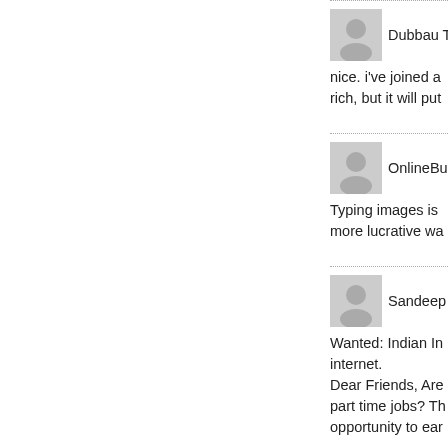Dubbau Tee — nice. i've joined a rich, but it will put
OnlineBusi — Typing images is more lucrative wa
Sandeep Lo — Wanted: Indian In internet. Dear Friends, Are part time jobs? Th opportunity to ear